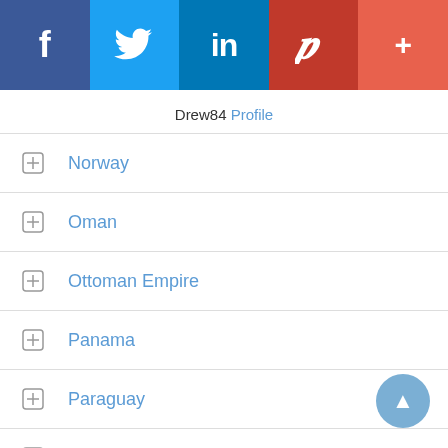[Figure (other): Social media sharing header bar with Facebook, Twitter, LinkedIn, Pinterest, and More (+) tabs]
Drew84 Profile
Norway
Oman
Ottoman Empire
Panama
Paraguay
Peru
Philippines